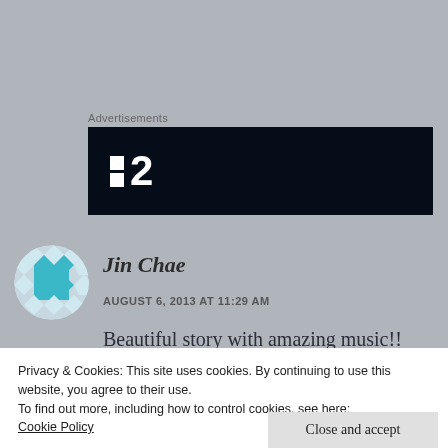Advertisements
[Figure (logo): Advertisement banner with dark navy background showing a logo with two white squares and the number 2]
[Figure (photo): Circular avatar with a geometric blue and white diamond pattern]
Jin Chae
AUGUST 6, 2013 AT 11:29 AM
Beautiful story with amazing music!!
Privacy & Cookies: This site uses cookies. By continuing to use this website, you agree to their use.
To find out more, including how to control cookies, see here:
Cookie Policy
Close and accept